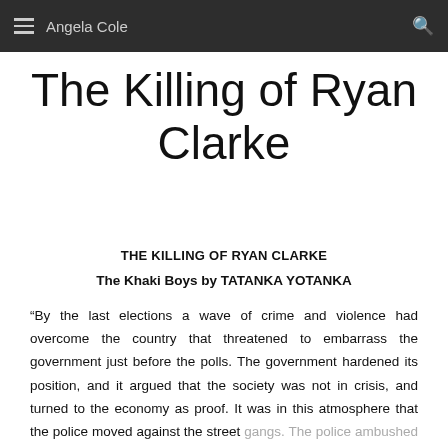Angela Cole
The Killing of Ryan Clarke
THE KILLING OF RYAN CLARKE
The Khaki Boys by TATANKA YOTANKA
“By the last elections a wave of crime and violence had overcome the country that threatened to embarrass the government just before the polls. The government hardened its position, and it argued that the society was not in crisis, and turned to the economy as proof. It was in this atmosphere that the police moved against the street gangs. The police ambushed and killed Ryan Clarke, the